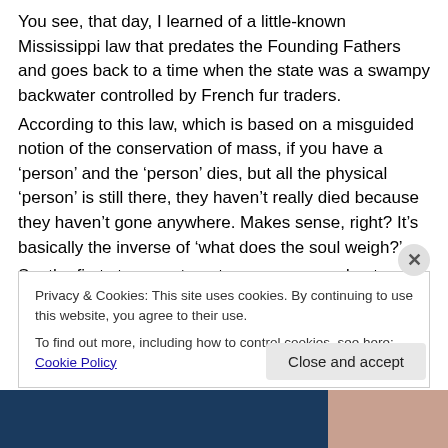You see, that day, I learned of a little-known Mississippi law that predates the Founding Fathers and goes back to a time when the state was a swampy backwater controlled by French fur traders.
According to this law, which is based on a misguided notion of the conservation of mass, if you have a 'person' and the 'person' dies, but all the physical 'person' is still there, they haven't really died because they haven't gone anywhere. Makes sense, right? It's basically the inverse of 'what does the soul weigh?'
So, the first step was to get a squeegee and get every last
Privacy & Cookies: This site uses cookies. By continuing to use this website, you agree to their use.
To find out more, including how to control cookies, see here: Cookie Policy